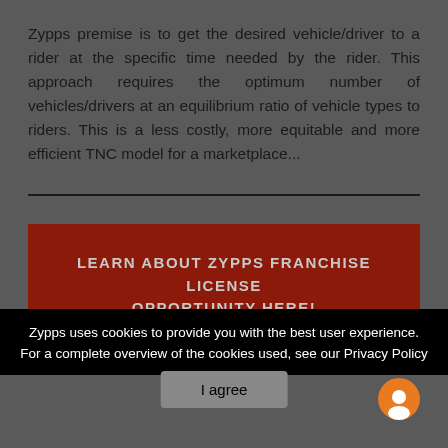Zypps premise is to get the desired vehicle/driver to a rider at the specific time needed by the rider. This approach requires the optimum number of vehicles/drivers at an equilibrium ratio of vehicle types to riders. This is a less costly, more equitable and more efficient TNC model for a marketplace...
LEARN ABOUT ZYPPS FRANCHISE LICENSE OPPORTUNITY HERE!
Zypps uses cookies to provide you with the best user experience. For a complete overview of the cookies used, see our Privacy Policy
I agree